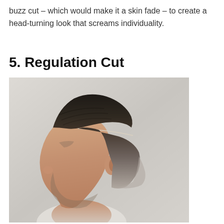buzz cut – which would make it a skin fade – to create a head-turning look that screams individuality.
5. Regulation Cut
[Figure (photo): Side profile of a man with a regulation cut hairstyle — thick dark hair combed back on top with a clean hard part line, fading down the sides with a taper fade, and light stubble beard. Light grey background.]